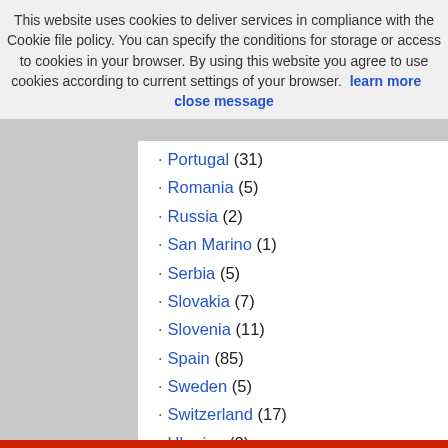This website uses cookies to deliver services in compliance with the Cookie file policy. You can specify the conditions for storage or access to cookies in your browser. By using this website you agree to use cookies according to current settings of your browser. learn more    close message
Portugal (31)
Romania (5)
Russia (2)
San Marino (1)
Serbia (5)
Slovakia (7)
Slovenia (11)
Spain (85)
Sweden (5)
Switzerland (17)
Ukraine (2)
United Kingdom (28)
Vatican (1)
North America (135)
Bermuda (3)